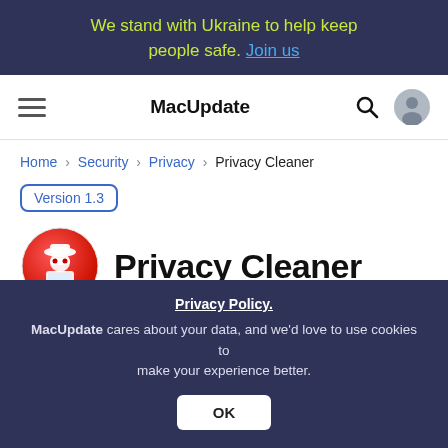We stand with Ukraine to help keep people safe. Join us
MacUpdate
Home > Security > Privacy > Privacy Cleaner
Version 1.3
Privacy Cleaner
Protect your privacy.
0.0
Privacy Policy. MacUpdate cares about your data, and we'd love to use cookies to make your experience better.
OK